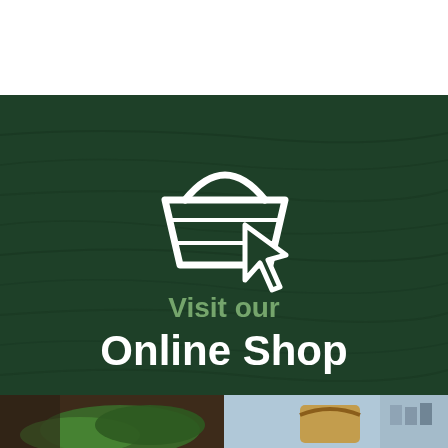[Figure (infographic): Dark green textured banner with a shopping basket and cursor icon, text reading 'Visit our Online Shop']
[Figure (photo): Bottom portion showing a grocery store scene with fresh produce and a wicker basket]